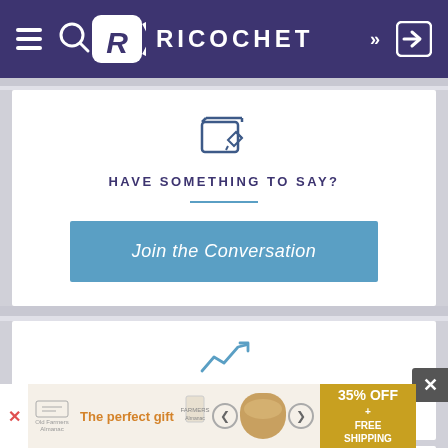RICOCHET
HAVE SOMETHING TO SAY?
Join the Conversation
TRENDING ON RICOCHET
Main Feed | Member Feed | Podcasts
[Figure (screenshot): Ad banner: The perfect gift, 35% OFF + FREE SHIPPING]